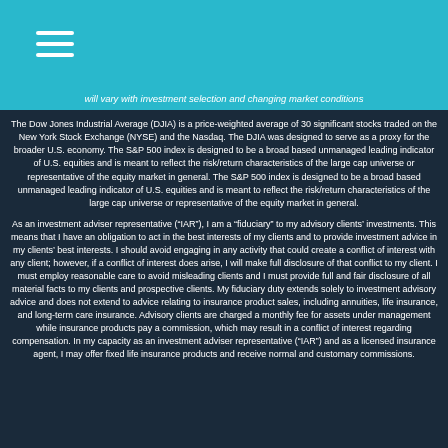will vary with investment selection and changing market conditions
The Dow Jones Industrial Average (DJIA) is a price-weighted average of 30 significant stocks traded on the New York Stock Exchange (NYSE) and the Nasdaq. The DJIA was designed to serve as a proxy for the broader U.S. economy. The S&P 500 index is designed to be a broad based unmanaged leading indicator of U.S. equities and is meant to reflect the risk/return characteristics of the large cap universe or representative of the equity market in general. The S&P 500 index is designed to be a broad based unmanaged leading indicator of U.S. equities and is meant to reflect the risk/return characteristics of the large cap universe or representative of the equity market in general.
As an investment adviser representative (“IAR”), I am a “fiduciary” to my advisory clients’ investments. This means that I have an obligation to act in the best interests of my clients and to provide investment advice in my clients’ best interests. I should avoid engaging in any activity that could create a conflict of interest with any client; however, if a conflict of interest does arise, I will make full disclosure of that conflict to my client. I must employ reasonable care to avoid misleading clients and I must provide full and fair disclosure of all material facts to my clients and prospective clients. My fiduciary duty extends solely to investment advisory advice and does not extend to advice relating to insurance product sales, including annuities, life insurance, and long-term care insurance. Advisory clients are charged a monthly fee for assets under management while insurance products pay a commission, which may result in a conflict of interest regarding compensation. In my capacity as an investment adviser representative (“IAR”) and as a licensed insurance agent, I may offer fixed life insurance products and receive normal and customary commissions.